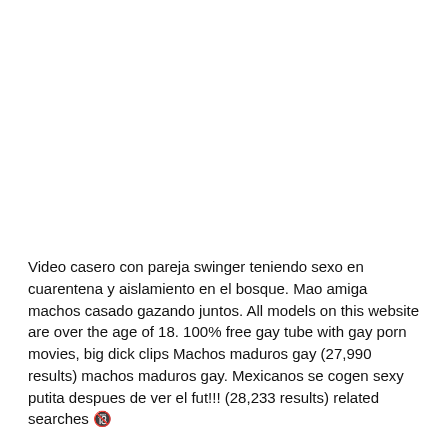Video casero con pareja swinger teniendo sexo en cuarentena y aislamiento en el bosque. Mao amiga machos casado gazando juntos. All models on this website are over the age of 18. 100% free gay tube with gay porn movies, big dick clips Machos maduros gay (27,990 results) machos maduros gay. Mexicanos se cogen sexy putita despues de ver el fut!!! (28,233 results) related searches 🔞